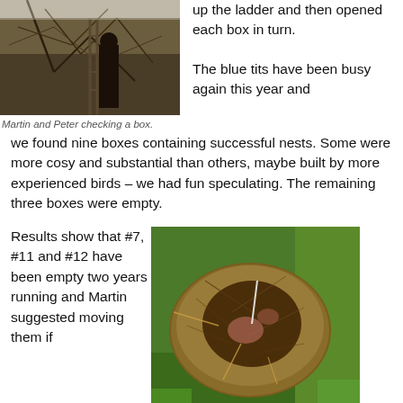[Figure (photo): Photo of Martin and Peter checking a bird box in a shrubby area with bare branches]
up the ladder and then opened each box in turn.
Martin and Peter checking a box.
The blue tits have been busy again this year and we found nine boxes containing successful nests. Some were more cosy and substantial than others, maybe built by more experienced birds – we had fun speculating. The remaining three boxes were empty.
Results show that #7, #11 and #12 have been empty two years running and Martin suggested moving them if
[Figure (photo): Close-up photo of a bird nest made of grass, moss, and feathers, sitting on green grass]